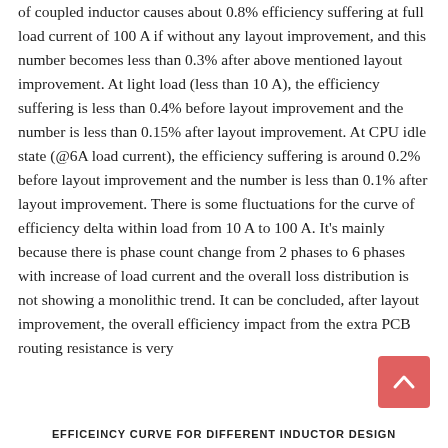of coupled inductor causes about 0.8% efficiency suffering at full load current of 100 A if without any layout improvement, and this number becomes less than 0.3% after above mentioned layout improvement. At light load (less than 10 A), the efficiency suffering is less than 0.4% before layout improvement and the number is less than 0.15% after layout improvement. At CPU idle state (@6A load current), the efficiency suffering is around 0.2% before layout improvement and the number is less than 0.1% after layout improvement. There is some fluctuations for the curve of efficiency delta within load from 10 A to 100 A. It's mainly because there is phase count change from 2 phases to 6 phases with increase of load current and the overall loss distribution is not showing a monolithic trend. It can be concluded, after layout improvement, the overall efficiency impact from the extra PCB routing resistance is very
EFFICEINCY CURVE FOR DIFFERENT INDUCTOR DESIGN